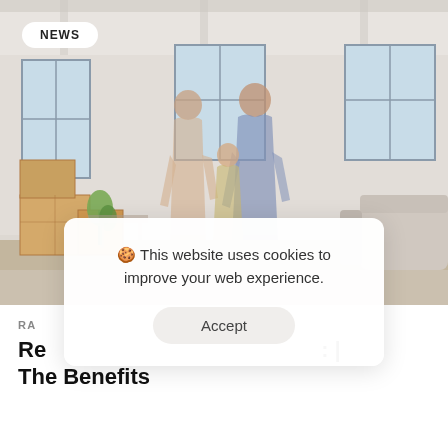[Figure (photo): A family (woman, man, and child) standing in a room surrounded by moving boxes in a bright, modern interior. There are large windows in the background, a plant, and a couch on the right side.]
NEWS
🍪 This website uses cookies to improve your web experience.
Accept
RA
Re___________________________: | The Benefits